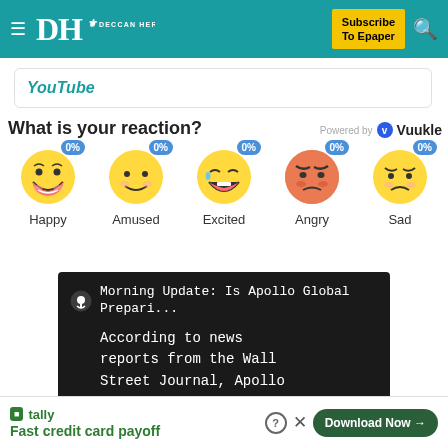DH DECCAN HERALD — Subscribe To Epaper
YouTube
What is your reaction?
[Figure (infographic): Reaction emoji row: Happy 0%, Amused 0%, Excited 0%, Angry 0%, Sad 0%. Powered by Vuukle.]
[Figure (screenshot): Morning Update podcast card: 'Morning Update: Is Apollo Global Prepari...' with text 'According to news reports from the Wall Street Journal, Apollo Global might be gearing up to prepare']
Fast credit card payoff — Tally — Download Now